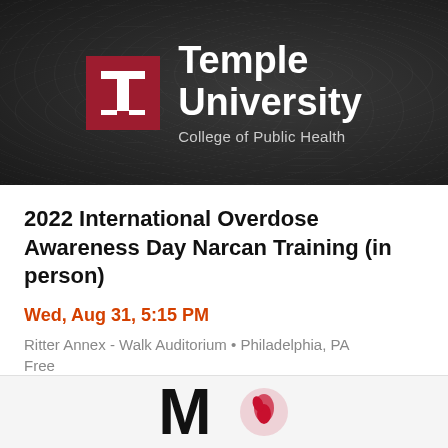[Figure (logo): Temple University College of Public Health logo on dark background with topographic line pattern]
2022 International Overdose Awareness Day Narcan Training (in person)
Wed, Aug 31, 5:15 PM
Ritter Annex - Walk Auditorium • Philadelphia, PA
Free
[Figure (logo): Partial view of a logo at the bottom of the page showing large black letters and a red circular emblem]